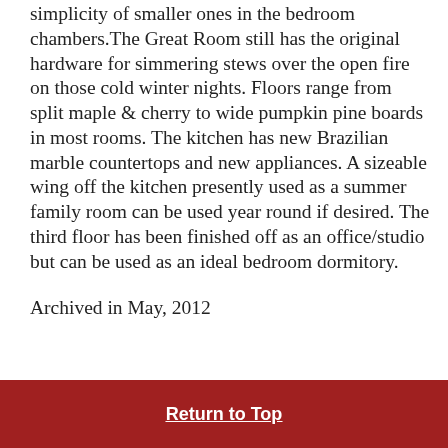simplicity of smaller ones in the bedroom chambers. The Great Room still has the original hardware for simmering stews over the open fire on those cold winter nights. Floors range from split maple & cherry to wide pumpkin pine boards in most rooms. The kitchen has new Brazilian marble countertops and new appliances. A sizeable wing off the kitchen presently used as a summer family room can be used year round if desired. The third floor has been finished off as an office/studio but can be used as an ideal bedroom dormitory.
Archived in May, 2012
Return to Top